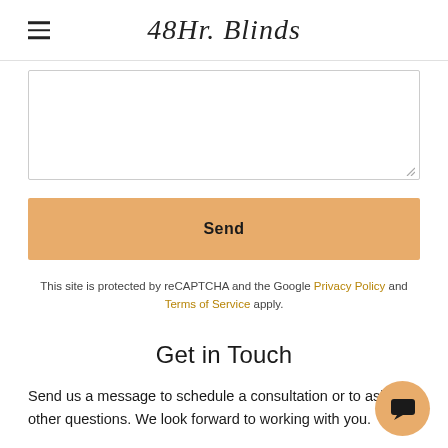48Hr. Blinds
[Figure (screenshot): Empty text area input field with resize handle in bottom-right corner]
[Figure (screenshot): Send button — large golden/orange rectangular button with bold text 'Send']
This site is protected by reCAPTCHA and the Google Privacy Policy and Terms of Service apply.
Get in Touch
Send us a message to schedule a consultation or to ask any other questions. We look forward to working with you.